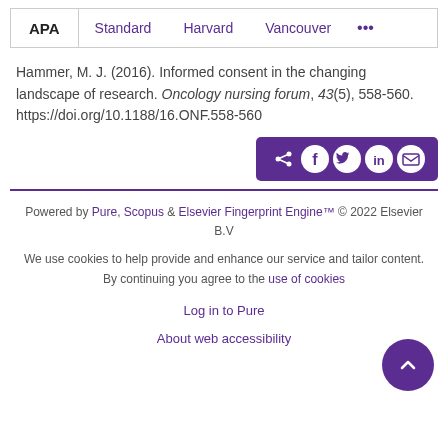APA  Standard  Harvard  Vancouver  ...
Hammer, M. J. (2016). Informed consent in the changing landscape of research. Oncology nursing forum, 43(5), 558-560. https://doi.org/10.1188/16.ONF.558-560
[Figure (other): Social share button bar with icons for share, Facebook, Twitter, LinkedIn, and email on a purple background]
Powered by Pure, Scopus & Elsevier Fingerprint Engine™ © 2022 Elsevier B.V
We use cookies to help provide and enhance our service and tailor content. By continuing you agree to the use of cookies
Log in to Pure
About web accessibility